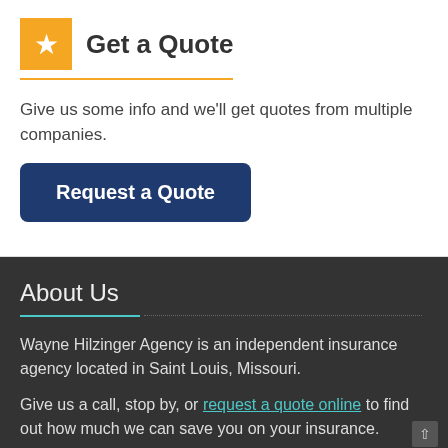Get a Quote
Give us some info and we'll get quotes from multiple companies.
[Figure (other): Blue button labeled 'Request a Quote']
About Us
Wayne Hilzinger Agency is an independent insurance agency located in Saint Louis, Missouri.
Give us a call, stop by, or request a quote online to find out how much we can save you on your insurance.